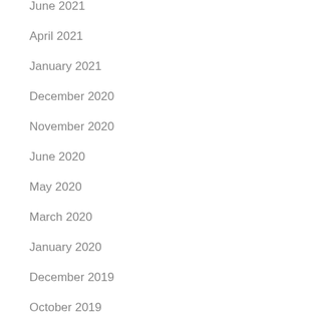June 2021
April 2021
January 2021
December 2020
November 2020
June 2020
May 2020
March 2020
January 2020
December 2019
October 2019
September 2019
August 2019
July 2019
June 2019